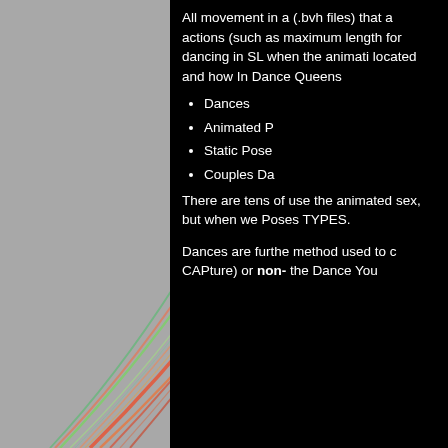[Figure (photo): Abstract colorful light streaks (rainbow-like arcs of red, orange, green) against a grey background, occupying the left portion of the page.]
All movement in a (.bvh files) that a actions (such as maximum length for dancing in SL when the animati located and how In Dance Queens
Dances
Animated P
Static Pose
Couples Da
There are tens of use the animated sex, but when we Poses TYPES.
Dances are furthe method used to c CAPture) or non- the Dance You